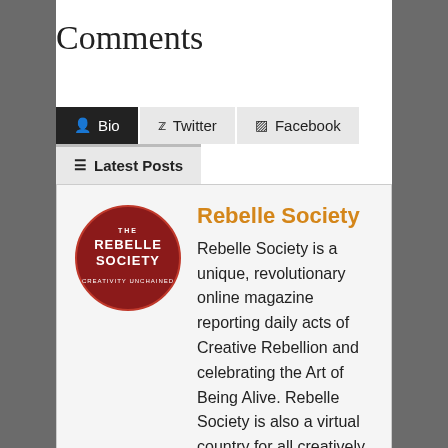Comments
Bio | Twitter | Facebook | Latest Posts
[Figure (logo): Rebelle Society circular logo — red circle with white text reading REBELLE SOCIETY]
Rebelle Society
Rebelle Society is a unique, revolutionary online magazine reporting daily acts of Creative Rebellion and celebrating the Art of Being Alive. Rebelle Society is also a virtual country for all creatively maladjusted rebels with a cause, trying to